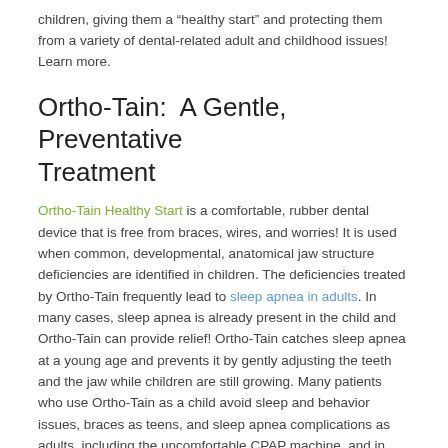children, giving them a “healthy start” and protecting them from a variety of dental-related adult and childhood issues! Learn more.
Ortho-Tain: A Gentle, Preventative Treatment
Ortho-Tain Healthy Start is a comfortable, rubber dental device that is free from braces, wires, and worries! It is used when common, developmental, anatomical jaw structure deficiencies are identified in children. The deficiencies treated by Ortho-Tain frequently lead to sleep apnea in adults. In many cases, sleep apnea is already present in the child and Ortho-Tain can provide relief! Ortho-Tain catches sleep apnea at a young age and prevents it by gently adjusting the teeth and the jaw while children are still growing. Many patients who use Ortho-Tain as a child avoid sleep and behavior issues, braces as teens, and sleep apnea complications as adults, including the uncomfortable CPAP machine, and in advanced cases, surgery!